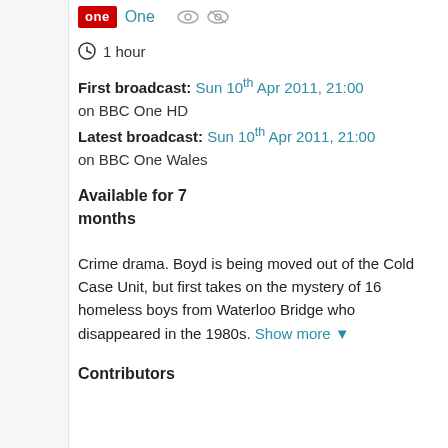[Figure (logo): BBC One logo (red rectangle with 'one' text) followed by 'One' in teal text and two eye icons]
1 hour
First broadcast: Sun 10th Apr 2011, 21:00 on BBC One HD Latest broadcast: Sun 10th Apr 2011, 21:00 on BBC One Wales
Available for 7 months
Crime drama. Boyd is being moved out of the Cold Case Unit, but first takes on the mystery of 16 homeless boys from Waterloo Bridge who disappeared in the 1980s. Show more ▼
Contributors